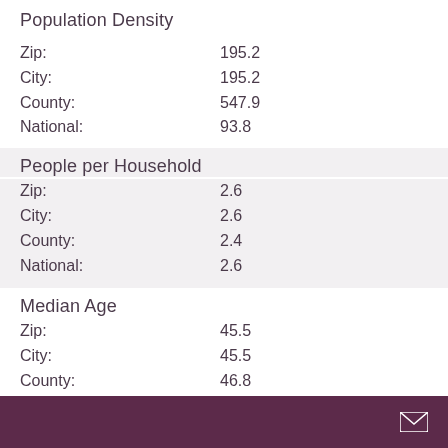Population Density
| Location | Value |
| --- | --- |
| Zip: | 195.2 |
| City: | 195.2 |
| County: | 547.9 |
| National: | 93.8 |
People per Household
| Location | Value |
| --- | --- |
| Zip: | 2.6 |
| City: | 2.6 |
| County: | 2.4 |
| National: | 2.6 |
Median Age
| Location | Value |
| --- | --- |
| Zip: | 45.5 |
| City: | 45.5 |
| County: | 46.8 |
| National: | 39 |
Median Household Income
| Location | Value |
| --- | --- |
| Zip: | $81,786 |
| City: | $81,786 |